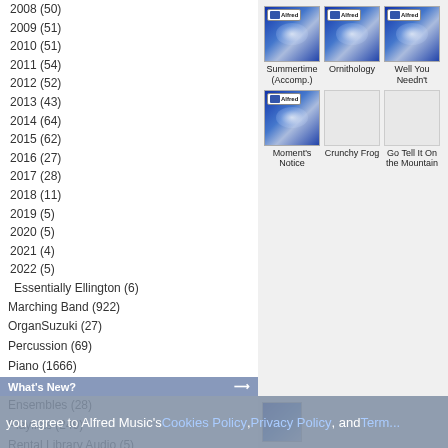2008 (50)
2009 (51)
2010 (51)
2011 (54)
2012 (52)
2013 (43)
2014 (64)
2015 (62)
2016 (27)
2017 (28)
2018 (11)
2019 (5)
2020 (5)
2021 (4)
2022 (5)
Essentially Ellington (6)
Marching Band (922)
OrganSuzuki (27)
Percussion (69)
Piano (1666)
Play Along Ensembles (28)
Playlists (249)
Rental Library Audio (5)
String Explorer (1)
String Orchestra (1847)
Authors
Please Select
Playlists
Please Select
[Figure (screenshot): Grid of album thumbnails: Summertime (Accomp.), Ornithology, Well You Needn't, Moment's Notice, Crunchy Frog, Go Tell It On the Mountain]
you agree to Alfred Music's Cookies Policy, Privacy Policy, and Terms